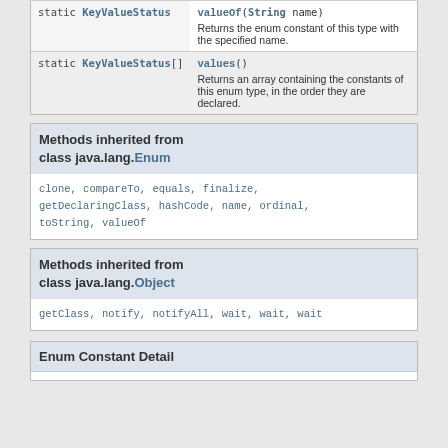| Modifier and Type | Method and Description |
| --- | --- |
| static KeyValueStatus | valueOf(String name)
Returns the enum constant of this type with the specified name. |
| static KeyValueStatus[] | values()
Returns an array containing the constants of this enum type, in the order they are declared. |
Methods inherited from class java.lang.Enum
clone, compareTo, equals, finalize, getDeclaringClass, hashCode, name, ordinal, toString, valueOf
Methods inherited from class java.lang.Object
getClass, notify, notifyAll, wait, wait, wait
Enum Constant Detail